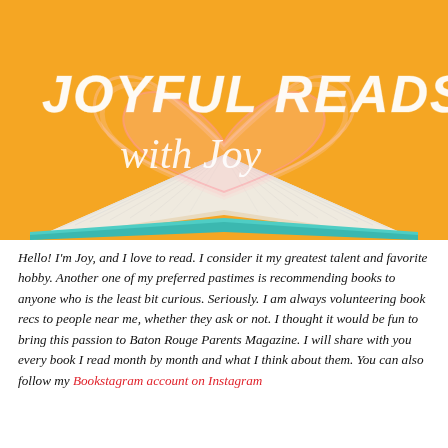[Figure (illustration): Hero banner image showing an open book with pages fanned into a heart shape against an orange background. Text overlaid reads 'JOYFUL READS with Joy' in white lettering.]
Hello! I'm Joy, and I love to read. I consider it my greatest talent and favorite hobby. Another one of my preferred pastimes is recommending books to anyone who is the least bit curious. Seriously. I am always volunteering book recs to people near me, whether they ask or not. I thought it would be fun to bring this passion to Baton Rouge Parents Magazine. I will share with you every book I read month by month and what I think about them. You can also follow my Bookstagram account on Instagram